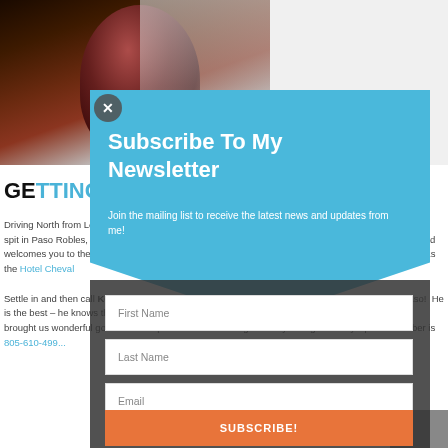[Figure (photo): Photo of a red wine glass in the upper left area of the page, appearing partially cropped]
GETTING THERE FROM LAX
Driving North from Los Angeles (approximately 3.5 hours with a stop for lunch) to swirl, smell, sip and spit in Paso Robles, just take US 101 North. Downtown Paso Robles is off of the Spring Street exit and welcomes you to the historic downtown square.  Our home-away-from-home while in Paso Robles was the Hotel Cheval
Settle in and then call Kenny Clark, our driver/tour guide for the next three days – he knows Paso!  He is the best – he knows the history of the wineries and Paso geography.  Oh, did I forget to say, he brought us wonderful goodies to keep us nourished during our daily outings.  Kenny's phone number is 805-610-499...
[Figure (screenshot): Newsletter subscription modal overlay with blue header section, dark gray form area, input fields for First Name, Last Name, and Email, and an orange Subscribe button at bottom]
Subscribe To My Newsletter
Join the mailing list to receive the latest news and updates from me!